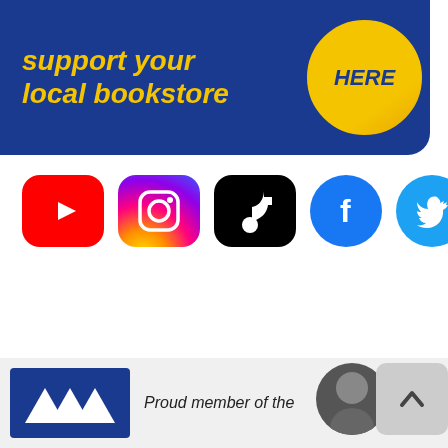[Figure (infographic): Dark blue banner with italic bold yellow text 'support your local bookstore' and a yellow circular button labeled 'HERE' in dark blue bold italic text]
[Figure (infographic): Row of five social media icons: YouTube (red rounded square with play button), Instagram (gradient rounded square with camera icon), TikTok (black rounded square with music note), Facebook (blue circle with f logo), Twitter (light blue circle with bird logo)]
[Figure (infographic): Footer area with ABA logo (white triangle/mountain shapes on dark blue background), italic text 'Proud member of the', a partial person photo circle, and a grey back-to-top button with chevron]